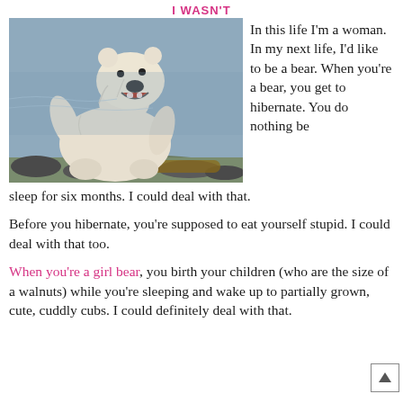I WASN'T
[Figure (photo): A polar bear standing upright on rocky ground near water, mouth open, white fluffy fur, photographed outdoors.]
In this life I'm a woman. In my next life, I'd like to be a bear. When you're a bear, you get to hibernate. You do nothing be sleep for six months. I could deal with that.
Before you hibernate, you're supposed to eat yourself stupid. I could deal with that too.
When you're a girl bear, you birth your children (who are the size of a walnuts) while you're sleeping and wake up to partially grown, cute, cuddly cubs. I could definitely deal with that.